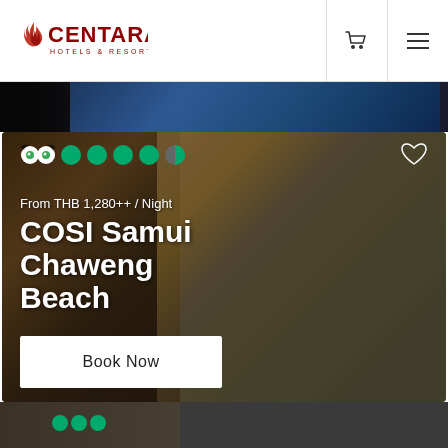[Figure (logo): Centara Hotels & Resorts logo with flame icon in red/dark red and gold, text in dark red]
[Figure (photo): Partial view of a dark hotel/resort image at the top of the page]
[Figure (photo): COSI Samui Chaweng Beach hotel photo showing restaurant/lounge interior with hanging wicker lamps, guests seated, green wall accent. TripAdvisor rating (4.5 circles) shown top left, heart icon top right. Price 'From THB 1,280++ / Night' and hotel name 'COSI Samui Chaweng Beach' overlaid on bottom. 'Book Now' white button at bottom left.]
[Figure (screenshot): Bottom strip showing dark gray bar with partial hotel card and TripAdvisor icon on left, and an 'Accept' button with checkmark icon on right]